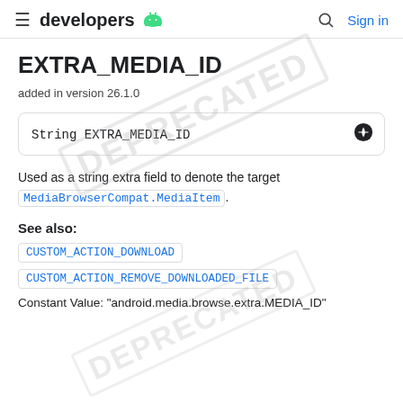developers | Sign in
EXTRA_MEDIA_ID
added in version 26.1.0
String EXTRA_MEDIA_ID
Used as a string extra field to denote the target MediaBrowserCompat.MediaItem.
See also:
CUSTOM_ACTION_DOWNLOAD
CUSTOM_ACTION_REMOVE_DOWNLOADED_FILE
Constant Value: "android.media.browse.extra.MEDIA_ID"